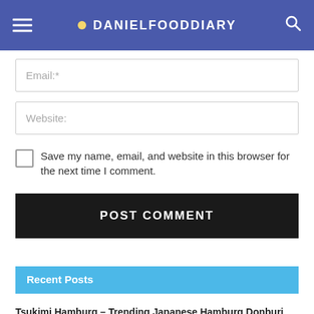DANIELFOODDIARY
Email:*
Website:
Save my name, email, and website in this browser for the next time I comment.
POST COMMENT
Recent Posts
Tsukimi Hamburg – Trending Japanese Hamburg Donburi Arrives At Jurong Point, Promo Price At $5.80